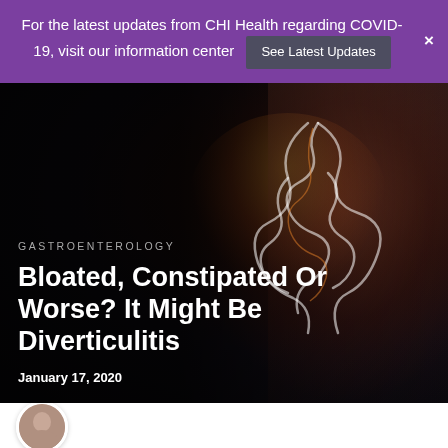For the latest updates from CHI Health regarding COVID-19, visit our information center  See Latest Updates
[Figure (photo): Person holding their abdomen with a glowing anatomical illustration of the intestines overlaid on a dark background]
GASTROENTEROLOGY
Bloated, Constipated Or Worse? It Might Be Diverticulitis
January 17, 2020
[Figure (photo): Circular avatar photo of an author]